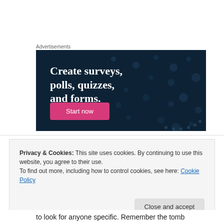Advertisements
[Figure (illustration): Advertisement banner with dark navy background and scattered dot pattern. Large white bold serif text reads 'Create surveys, polls, quizzes, and forms.' A pink/magenta 'Start now' button appears at the bottom left.]
Privacy & Cookies: This site uses cookies. By continuing to use this website, you agree to their use.
To find out more, including how to control cookies, see here: Cookie Policy
Close and accept
to look for anyone specific. Remember the tomb